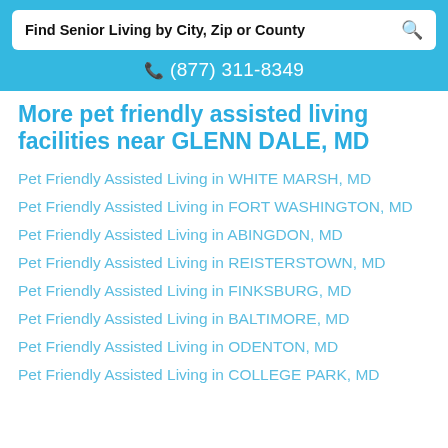Find Senior Living by City, Zip or County
(877) 311-8349
More pet friendly assisted living facilities near GLENN DALE, MD
Pet Friendly Assisted Living in WHITE MARSH, MD
Pet Friendly Assisted Living in FORT WASHINGTON, MD
Pet Friendly Assisted Living in ABINGDON, MD
Pet Friendly Assisted Living in REISTERSTOWN, MD
Pet Friendly Assisted Living in FINKSBURG, MD
Pet Friendly Assisted Living in BALTIMORE, MD
Pet Friendly Assisted Living in ODENTON, MD
Pet Friendly Assisted Living in COLLEGE PARK, MD